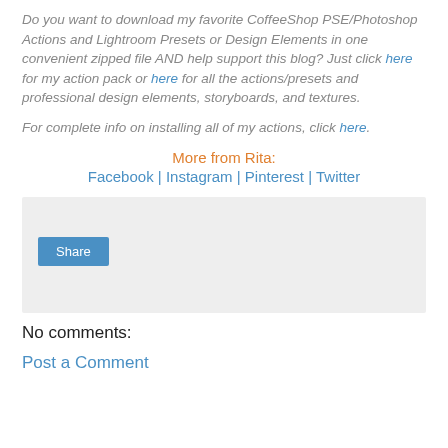Do you want to download my favorite CoffeeShop PSE/Photoshop Actions and Lightroom Presets or Design Elements in one convenient zipped file AND help support this blog? Just click here for my action pack or here for all the actions/presets and professional design elements, storyboards, and textures.
For complete info on installing all of my actions, click here.
More from Rita:
Facebook | Instagram | Pinterest | Twitter
[Figure (other): Share button widget box with grey background and a blue Share button]
No comments:
Post a Comment